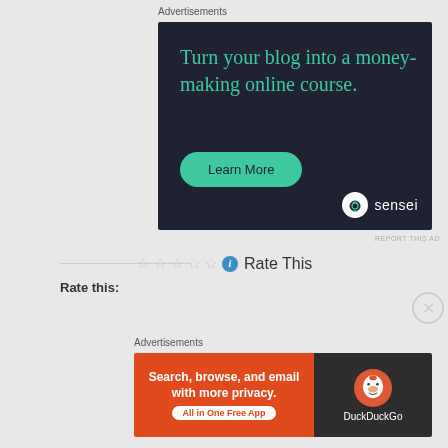Advertisements
[Figure (illustration): Sensei advertisement: dark navy background with teal text 'Turn your blog into a money-making online course.' and a teal 'Learn More' button, with Sensei logo in bottom right]
REPORT THIS AD
☆☆☆☆☆ ℹ Rate This
Rate this:
Advertisements
[Figure (illustration): DuckDuckGo advertisement banner: left orange section with text 'Search, browse, and email with more privacy. All in One Free App', right dark section with DuckDuckGo duck logo and text 'DuckDuckGo']